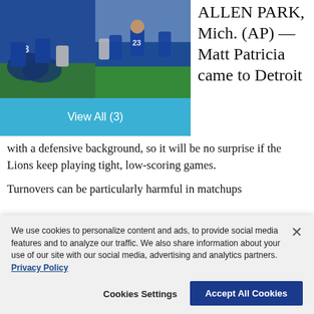[Figure (photo): Two Detroit Lions football game photos side by side showing players in blue uniforms on the field]
View All (3)
ALLEN PARK, Mich. (AP) — Matt Patricia came to Detroit with a defensive background, so it will be no surprise if the Lions keep playing tight, low-scoring games.
Turnovers can be particularly harmful in matchups
We use cookies to personalize content and ads, to provide social media features and to analyze our traffic. We also share information about your use of our site with our social media, advertising and analytics partners. Privacy Policy
Cookies Settings
Accept All Cookies